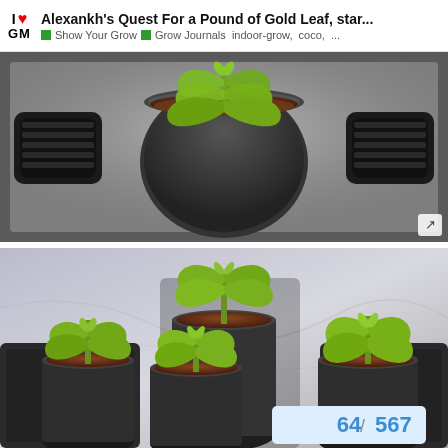I ❤ GM | Alexankh's Quest For a Pound of Gold Leaf, star... | Show Your Grow | Grow Journals indoor-grow, coco, ...
[Figure (photo): Top-down photo of a single cannabis seedling in a round black pot filled with brown coco coir, sitting on a silver grow tray with black handles on either side.]
[Figure (photo): Photo of five cannabis seedlings in round black pots filled with brown coco coir, arranged on a reflective grow tent floor. A page counter badge in the bottom-right reads 64 / 567.]